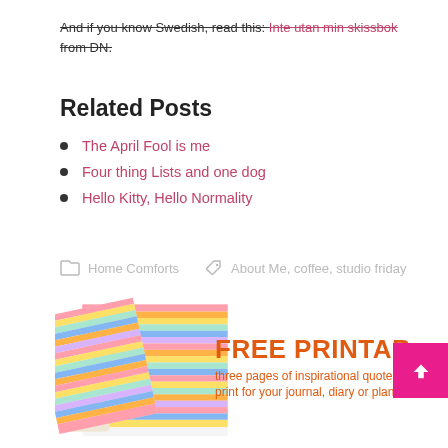And if you know Swedish, read this: Inte utan min skissbok from DN.
Related Posts
The April Fool is me
Four thing Lists and one dog
Hello Kitty, Hello Normality
Home Comforts   About Me, coffee, studio friday
[Figure (other): Social sharing icons: Twitter, Facebook, Pinterest, Email, more]
[Figure (infographic): Free Printable promotional banner with colorful striped paper swatches and text: FREE PRINTABLE three pages of inspirational quotes to print for your journal, diary or planner]